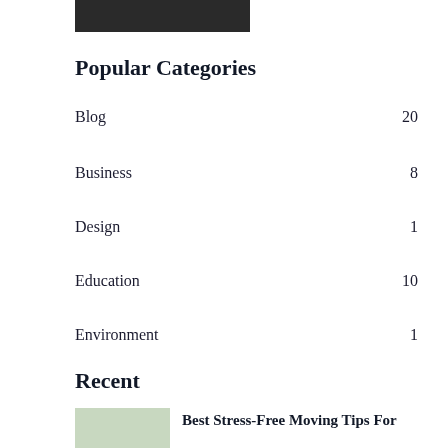[Figure (photo): Partial dark/blurred photo at top of sidebar]
Popular Categories
Blog  20
Business  8
Design  1
Education  10
Environment  1
Fashion  5
Recent
[Figure (photo): Thumbnail image of people moving]
Best Stress-Free Moving Tips For